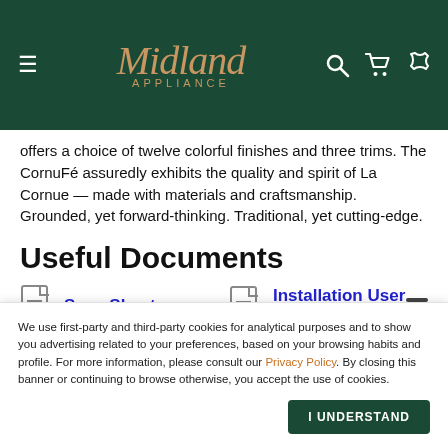Midland Appliance
offers a choice of twelve colorful finishes and three trims. The CornuFé assuredly exhibits the quality and spirit of La Cornue — made with materials and craftsmanship. Grounded, yet forward-thinking. Traditional, yet cutting-edge.
Useful Documents
Spec Sheet
Installation User Guide
We use first-party and third-party cookies for analytical purposes and to show you advertising related to your preferences, based on your browsing habits and profile. For more information, please consult our Privacy Policy. By closing this banner or continuing to browse otherwise, you accept the use of cookies.